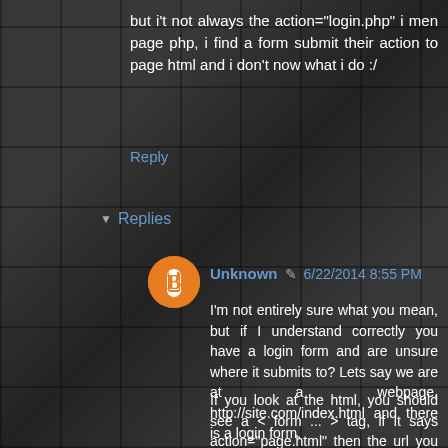but i't not always the action="login.php" i men page php, i find a form submit their action to page html and i don't now what i do :/
Reply
▾ Replies
Unknown ✏ 6/22/2014 8:55 PM
I'm not entirely sure what you mean, but if I understand correctly you have a login form and are unsure where it submits to? Lets say we are at a webpage, http://site.com/index.html and there is a login form.
If you look at the html, you should see a < form ... > tag, if it says action="page.html" then the url you submit your login information to is http://site.com/page.html if there is no action="" in the form tag, then you submit your login information to the page you are on, http://site.com/index.html